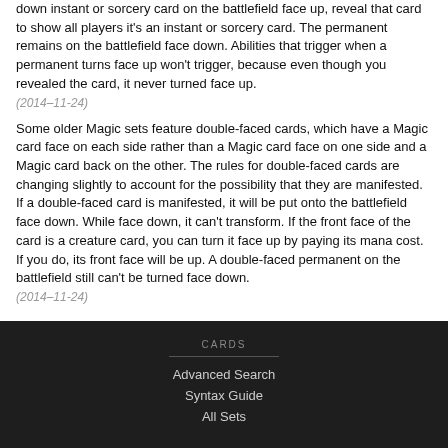down instant or sorcery card on the battlefield face up, reveal that card to show all players it's an instant or sorcery card. The permanent remains on the battlefield face down. Abilities that trigger when a permanent turns face up won't trigger, because even though you revealed the card, it never turned face up.
(2014-11-24)
Some older Magic sets feature double-faced cards, which have a Magic card face on each side rather than a Magic card face on one side and a Magic card back on the other. The rules for double-faced cards are changing slightly to account for the possibility that they are manifested. If a double-faced card is manifested, it will be put onto the battlefield face down. While face down, it can't transform. If the front face of the card is a creature card, you can turn it face up by paying its mana cost. If you do, its front face will be up. A double-faced permanent on the battlefield still can't be turned face down.
(2014-11-24)
CARDS | Advanced Search | Syntax Guide | All Sets